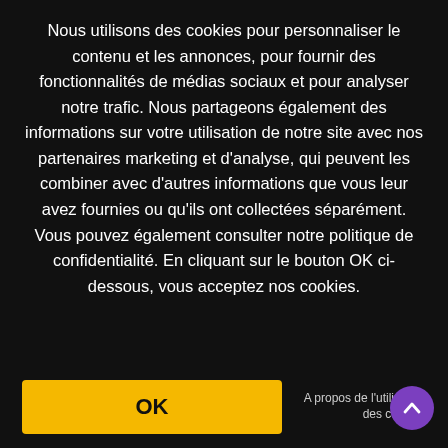Nous utilisons des cookies pour personnaliser le contenu et les annonces, pour fournir des fonctionnalités de médias sociaux et pour analyser notre trafic. Nous partageons également des informations sur votre utilisation de notre site avec nos partenaires marketing et d'analyse, qui peuvent les combiner avec d'autres informations que vous leur avez fournies ou qu'ils ont collectées séparément. Vous pouvez également consulter notre politique de confidentialité. En cliquant sur le bouton OK ci-dessous, vous acceptez nos cookies.
OK
A propos de l'utilisation des cookies